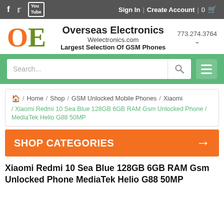f  Twitter  YouTube  |  Sign In  |  Create Account  |  0  Cart
[Figure (logo): OE logo with orange O and green E letters]
Overseas Electronics
Welectronics.com
Largest Selection Of GSM Phones
773.274.3764
[Figure (screenshot): Search bar with magnifying glass icon and hamburger menu on green background]
Home / Shop / GSM Unlocked Mobile Phones / Xiaomi / Xiaomi Redmi 10 Sea Blue 128GB 6GB RAM Gsm Unlocked Phone / MediaTek Helio G88 50MP
SHOP CATEGORIES →
Xiaomi Redmi 10 Sea Blue 128GB 6GB RAM Gsm Unlocked Phone MediaTek Helio G88 50MP